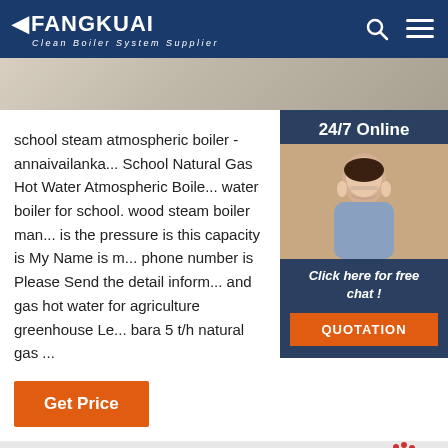FANGKUAI Clean Boiler System Supplier
[Figure (photo): Top image strip showing interior building/boiler room environment]
school steam atmospheric boiler - annaivailanka... School Natural Gas Hot Water Atmospheric Boile... water boiler for school. wood steam boiler man... is the pressure is this capacity is My Name is m... phone number is Please Send the detail inform... and gas hot water for agriculture greenhouse Le... bara 5 t/h natural gas ...
[Figure (photo): 24/7 Online chat widget with customer service representative photo, 'Click here for free chat!' text, and QUOTATION button]
[Figure (other): Get Price orange button]
[Figure (photo): Bottom image strip showing yellow industrial pipes/boiler room, with TOP badge in the right corner]